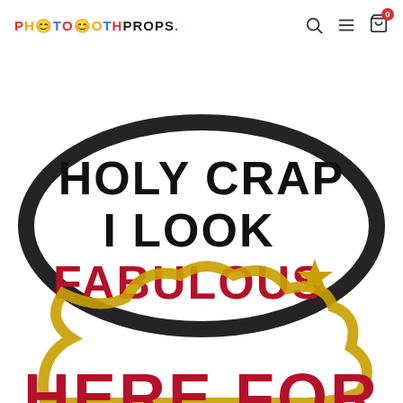PHOTOBOOTHPROPS.
[Figure (photo): Two photo booth speech bubble props. Top: black glitter oval speech bubble with text 'HOLY CRAP I LOOK FABULOUS' with a gold star, with 'FABULOUS' in red glitter letters. Bottom: gold glitter star-shaped speech bubble with 'HERE FOR' in red glitter letters, partially visible.]